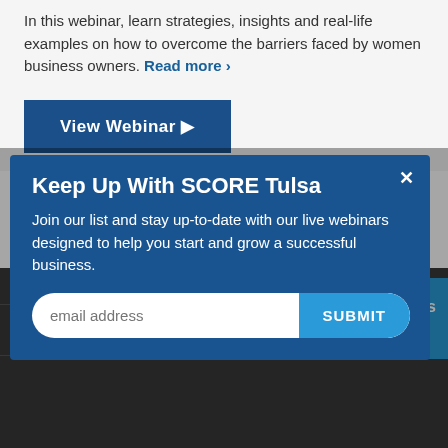In this webinar, learn strategies, insights and real-life examples on how to overcome the barriers faced by women business owners. Read more ›
View Webinar ▶
Keep Up With SCORE Tulsa
Join our list and stay up-to-date with our live webinars designed to help you start and grow a successful business.
email address | SUBMIT
Our Sponsors
CONTACT US